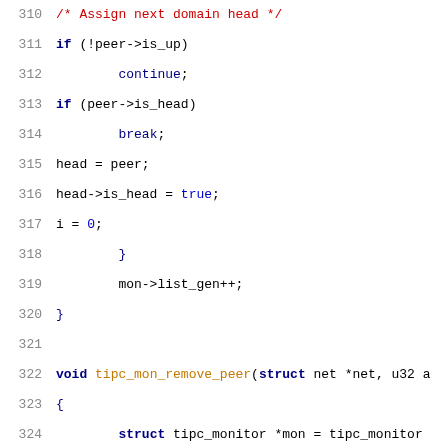[Figure (screenshot): Source code listing showing lines 310-330 of a C file implementing tipc_mon_remove_peer function, with syntax highlighting. Lines include comments, if statements, continue/break keywords, assignments, and variable declarations.]